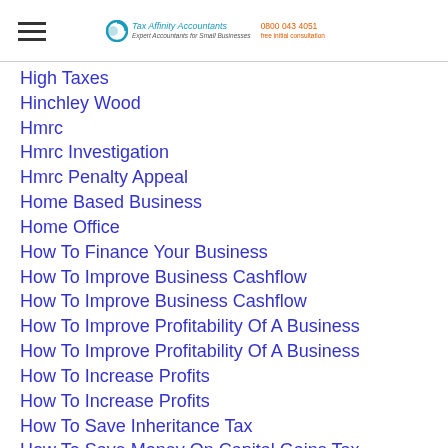Tax Affinity Accountants | 0800 043 4051 free initial consultation
High Taxes
Hinchley Wood
Hmrc
Hmrc Investigation
Hmrc Penalty Appeal
Home Based Business
Home Office
How To Finance Your Business
How To Improve Business Cashflow
How To Improve Business Cashflow
How To Improve Profitability Of A Business
How To Improve Profitability Of A Business
How To Increase Profits
How To Increase Profits
How To Save Inheritance Tax
How To Save Money On Capital Gains Tax
How To Save Tax On Property
How To Save Tax On Property